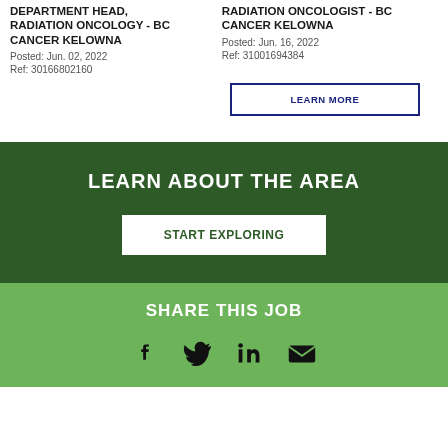DEPARTMENT HEAD, RADIATION ONCOLOGY - BC CANCER KELOWNA
Posted: Jun. 02, 2022
Ref: 30166802160
RADIATION ONCOLOGIST - BC CANCER KELOWNA
Posted: Jun. 16, 2022
Ref: 31001694384
LEARN MORE
LEARN ABOUT THE AREA
START EXPLORING
SHARE THIS JOB
[Figure (illustration): Social media share icons: Facebook, Twitter, LinkedIn, Email]